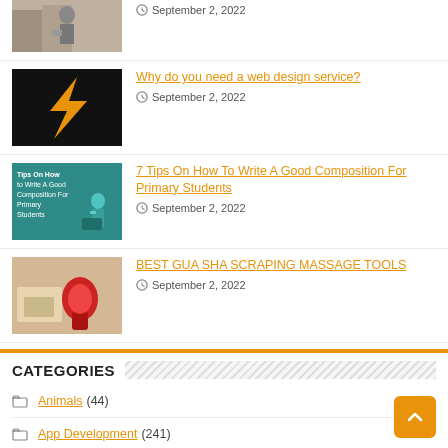[Figure (photo): Partial thumbnail of person at a door, top of page]
September 2, 2022
[Figure (logo): Orange lightning bolt logo on black background]
Why do you need a web design service?
September 2, 2022
[Figure (illustration): Teal background infographic: Tips On How to Write A Good Composition For Primary Students]
7 Tips On How To Write A Good Composition For Primary Students
September 2, 2022
[Figure (photo): Photo of red gua sha massage tool on beige background]
BEST GUA SHA SCRAPING MASSAGE TOOLS
September 2, 2022
CATEGORIES
Animals (44)
App Development (241)
Arts and Entertainment (141)